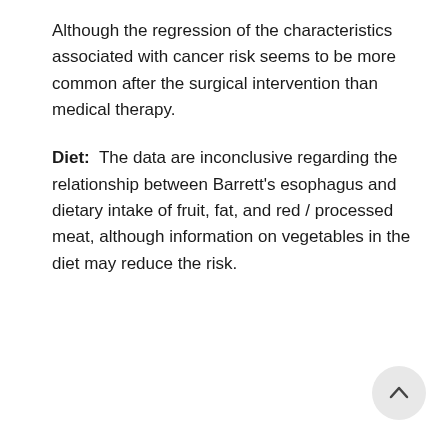Although the regression of the characteristics associated with cancer risk seems to be more common after the surgical intervention than medical therapy.
Diet:  The data are inconclusive regarding the relationship between Barrett's esophagus and dietary intake of fruit, fat, and red / processed meat, although information on vegetables in the diet may reduce the risk.